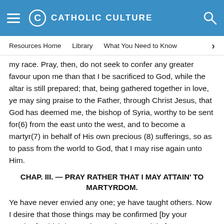CATHOLIC CULTURE
Resources Home   Library   What You Need to Know
my race. Pray, then, do not seek to confer any greater favour upon me than that I be sacrificed to God, while the altar is still prepared; that, being gathered together in love, ye may sing praise to the Father, through Christ Jesus, that God has deemed me, the bishop of Syria, worthy to be sent for(6) from the east unto the west, and to become a martyr(7) in behalf of His own precious (8) sufferings, so as to pass from the world to God, that I may rise again unto Him.
CHAP. III. — PRAY RATHER THAT I MAY ATTAIN' TO MARTYRDOM.
Ye have never envied any one; ye have taught others. Now I desire that those things may be confirmed [by your conduct], which in your instructions ye enjoin [on